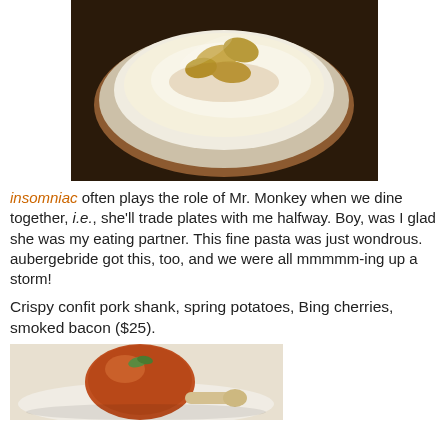[Figure (photo): A white bowl containing a creamy soup or dish, photographed from above on a dark background with a plate underneath.]
insomniac often plays the role of Mr. Monkey when we dine together, i.e., she'll trade plates with me halfway. Boy, was I glad she was my eating partner. This fine pasta was just wondrous. aubergebride got this, too, and we were all mmmmm-ing up a storm!
Crispy confit pork shank, spring potatoes, Bing cherries, smoked bacon ($25).
[Figure (photo): A crispy confit pork shank on a white plate, photographed from a slight angle.]